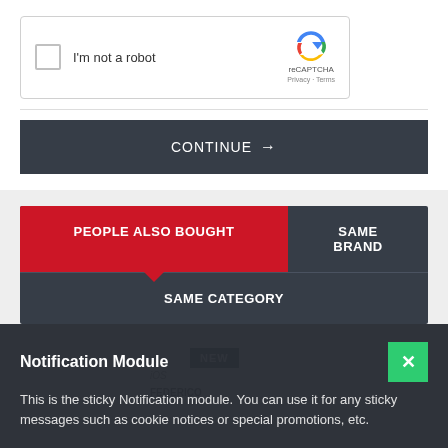[Figure (screenshot): reCAPTCHA widget with checkbox 'I'm not a robot', reCAPTCHA logo, Privacy and Terms links]
CONTINUE →
PEOPLE ALSO BOUGHT
SAME BRAND
SAME CATEGORY
Notification Module
This is the sticky Notification module. You can use it for any sticky messages such as cookie notices or special promotions, etc.